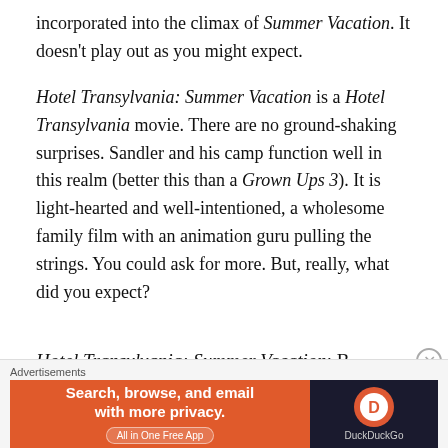incorporated into the climax of Summer Vacation. It doesn't play out as you might expect.
Hotel Transylvania: Summer Vacation is a Hotel Transylvania movie. There are no ground-shaking surprises. Sandler and his camp function well in this realm (better this than a Grown Ups 3). It is light-hearted and well-intentioned, a wholesome family film with an animation guru pulling the strings. You could ask for more. But, really, what did you expect?
Hotel Transylvania: Summer Vacation: B-
[Figure (infographic): DuckDuckGo advertisement banner: orange left section reading 'Search, browse, and email with more privacy. All in One Free App', dark right section with DuckDuckGo logo and name.]